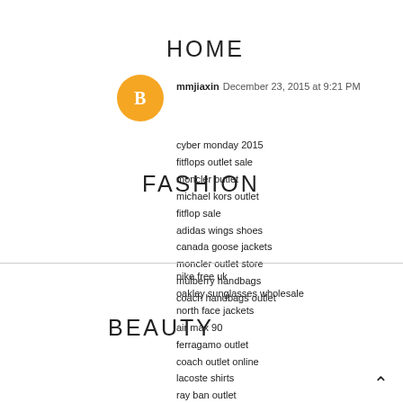HOME   ABOUT   FASHION   FOOD   BEAUTY   LIFESTYLE   CONTACT
[Figure (logo): Orange circular Blogger icon with B letter]
mmjiaxin  December 23, 2015 at 9:21 PM
cyber monday 2015
fitflops outlet sale
moncler outlet
michael kors outlet
fitflop sale
adidas wings shoes
canada goose jackets
moncler outlet store
mulberry handbags
coach handbags outlet
nike free uk
oakley sunglasses wholesale
north face jackets
air max 90
ferragamo outlet
coach outlet online
lacoste shirts
ray ban outlet
ugg outlet uk